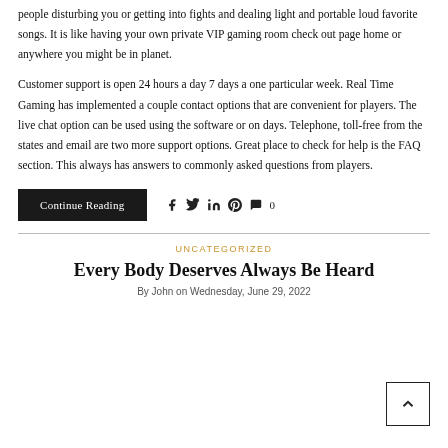people disturbing you or getting into fights and dealing light and portable loud favorite songs. It is like having your own private VIP gaming room check out page home or anywhere you might be in planet.
Customer support is open 24 hours a day 7 days a one particular week. Real Time Gaming has implemented a couple contact options that are convenient for players. The live chat option can be used using the software or on days. Telephone, toll-free from the states and email are two more support options. Great place to check for help is the FAQ section. This always has answers to commonly asked questions from players.
Continue Reading
0
UNCATEGORIZED
Every Body Deserves Always Be Heard
By John on Wednesday, June 29, 2022